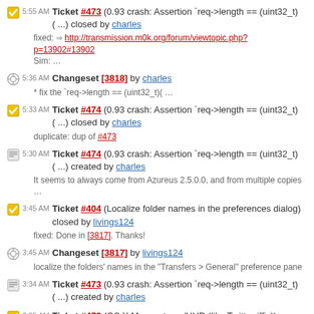5:55 AM Ticket #473 (0.93 crash: Assertion `req->length == (uint32_t)( ...) closed by charles
fixed: http://transmission.m0k.org/forum/viewtopic.php?p=13902#13902
Sim: ...
5:36 AM Changeset [3818] by charles
* fix the `req->length == (uint32_t)( ...
5:33 AM Ticket #474 (0.93 crash: Assertion `req->length == (uint32_t)( ...) closed by charles
duplicate: dup of #473
5:30 AM Ticket #474 (0.93 crash: Assertion `req->length == (uint32_t)( ...) created by charles
It seems to always come from Azureus 2.5.0.0, and from multiple copies ...
3:45 AM Ticket #404 (Localize folder names in the preferences dialog) closed by livings124
fixed: Done in [3817]. Thanks!
3:45 AM Changeset [3817] by livings124
localize the folders' names in the "Transfers > General" preference pane
3:34 AM Ticket #473 (0.93 crash: Assertion `req->length == (uint32_t)( ...) created by charles
3:05 AM Ticket #472 (OS X Menuextra w/HUD (like Twitterriffic)) closed by livings124
wontfix: HUD is meant for inspector palettes for full-screen apps. A menu